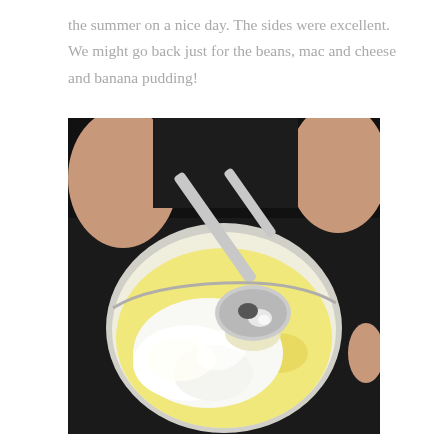the summer on a nice day. The sides were excellent. We might go back just for the beans, mac and cheese and banana pudding!
[Figure (photo): Close-up photo of a person scooping banana pudding with whipped cream from a small clear cup using a silver spoon, dark background clothing visible.]